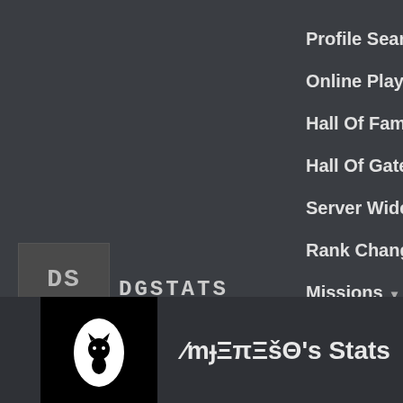Profile Search
Online Players
Hall Of Fame ▾
Hall Of Gates ▾
[Figure (logo): DGSTATS logo: dark square with 'DS' letters in monospace and 'DQSTATS' text beside it]
Server Wide ▾
Rank Changes
Missions ▾
Tools ▾
[Figure (illustration): Black rectangle with white oval containing a small black cat silhouette]
∕mɟΞπΞšΘ's Stats